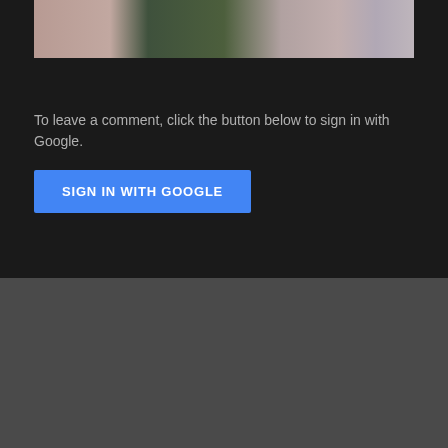[Figure (photo): Partial photo of people in pink/light colored pants standing against a green background, showing lower body only]
To leave a comment, click the button below to sign in with Google.
SIGN IN WITH GOOGLE
Popular posts from this blog
What is this tab on your Jiu Jitsu belt?
By serge morel – October 23, 2014
[Figure (photo): Small thumbnail image of hands holding a jiu jitsu belt]
As we are getting closer to graduation,